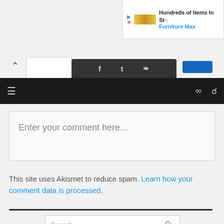[Figure (screenshot): Ad banner for Furniture Max with play icon and X close button, showing 'Hundreds of Items In St...' and 'Furniture Max' link in blue]
[Figure (screenshot): Browser navigation strip with up-arrow, white tab, dark tab with social icons (Facebook, Twitter, GitHub), blue button, black toolbar with hamburger menu and share/search icons]
Enter your comment here...
This site uses Akismet to reduce spam. Learn how your comment data is processed.
[Figure (screenshot): Search input box with placeholder 'Search ...' and a magnifying glass icon on the right]